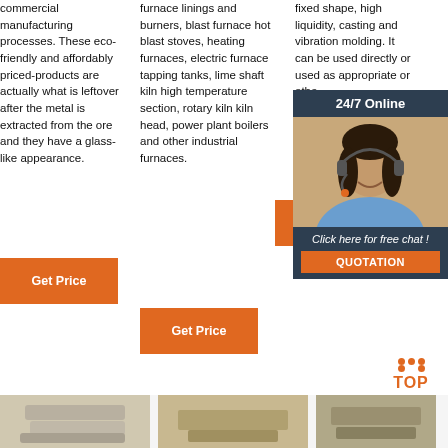commercial manufacturing processes. These eco-friendly and affordably priced-products are actually what is leftover after the metal is extracted from the ore and they have a glass-like appearance.
furnace linings and burners, blast furnace hot blast stoves, heating furnaces, electric furnace tapping tanks, lime shaft kiln high temperature section, rotary kiln kiln head, power plant boilers and other industrial furnaces.
fixed shape, high liquidity, casting and vibration molding. It can be used directly or used as appropriate or othe
[Figure (photo): Customer service representative with headset, 24/7 Online chat popup overlay with dark background, orange QUOTATION button]
[Figure (other): TOP scroll-to-top button with orange dots and text]
[Figure (photo): Bottom row of product images showing refractory bricks/blocks]